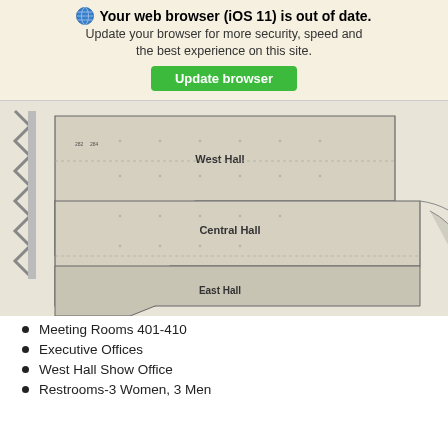Your web browser (iOS 11) is out of date. Update your browser for more security, speed and the best experience on this site. Update browser
[Figure (map): Floor plan map of Tampa Convention Center showing West Hall, Central Hall, East Hall, Exhibit Hall Loading Dock, Meeting Rooms 401-410, and various amenity icons including Tampa Convention Center logo and QR code. Freight Door Dimensions table shown.]
Meeting Rooms 401-410
Executive Offices
West Hall Show Office
Restrooms-3 Women, 3 Men